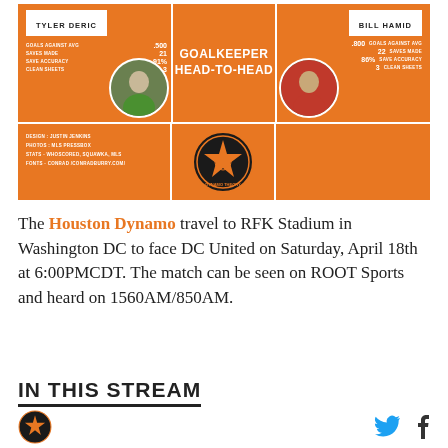[Figure (infographic): Goalkeeper Head-to-Head infographic comparing Tyler Deric and Bill Hamid with stats: Goals Against Avg, Saves Made, Save Accuracy, Clean Sheets]
The Houston Dynamo travel to RFK Stadium in Washington DC to face DC United on Saturday, April 18th at 6:00PMCDT. The match can be seen on ROOT Sports and heard on 1560AM/850AM.
IN THIS STREAM